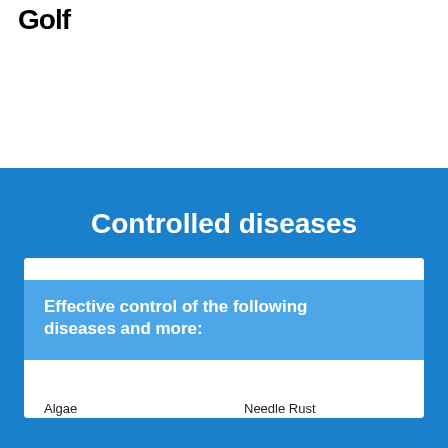Golf
Controlled diseases
Effective control of the following diseases and more:
Algae
Needle Rust